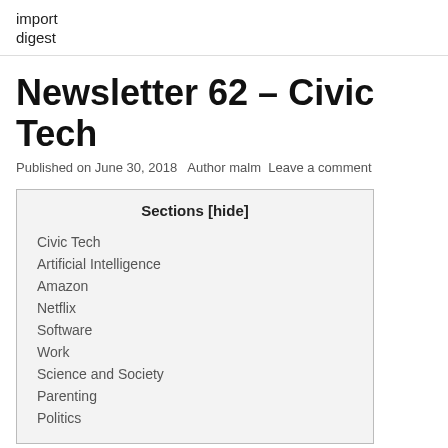import digest
Newsletter 62 – Civic Tech
Published on June 30, 2018   Author malm   Leave a comment
| Sections [hide] |
| --- |
| Civic Tech |
| Artificial Intelligence |
| Amazon |
| Netflix |
| Software |
| Work |
| Science and Society |
| Parenting |
| Politics |
Civic Tech